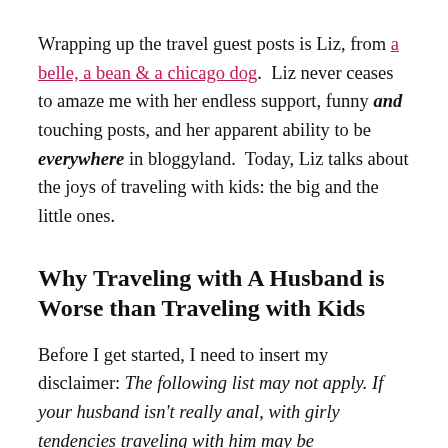Wrapping up the travel guest posts is Liz, from a belle, a bean & a chicago dog. Liz never ceases to amaze me with her endless support, funny and touching posts, and her apparent ability to be everywhere in bloggyland. Today, Liz talks about the joys of traveling with kids: the big and the little ones.
Why Traveling with A Husband is Worse than Traveling with Kids
Before I get started, I need to insert my disclaimer: The following list may not apply. If your husband isn't really anal, with girly tendencies traveling with him may be...